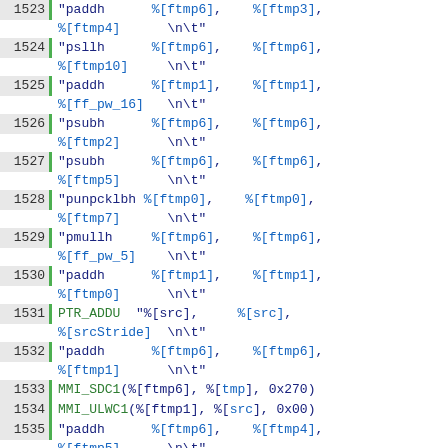Code listing lines 1523–1541 showing assembly-like instructions with registers and opcodes
1523 | "paddh   %[ftmp6],   %[ftmp3], %[ftmp4]    \n\t"
1524 | "psllh   %[ftmp6],   %[ftmp6], %[ftmp10]   \n\t"
1525 | "paddh   %[ftmp1],   %[ftmp1], %[ff_pw_16]  \n\t"
1526 | "psubh   %[ftmp6],   %[ftmp6], %[ftmp2]     \n\t"
1527 | "psubh   %[ftmp6],   %[ftmp6], %[ftmp5]     \n\t"
1528 | "punpcklbh %[ftmp0], %[ftmp0], %[ftmp7]     \n\t"
1529 | "pmullh  %[ftmp6],   %[ftmp6], %[ff_pw_5]   \n\t"
1530 | "paddh   %[ftmp1],   %[ftmp1], %[ftmp0]     \n\t"
1531 | PTR_ADDU "%[src],   %[src], %[srcStride]   \n\t"
1532 | "paddh   %[ftmp6],   %[ftmp6], %[ftmp1]     \n\t"
1533 | MMI_SDC1(%[ftmp6], %[tmp], 0x270)
1534 | MMI_ULWC1(%[ftmp1], %[src], 0x00)
1535 | "paddh   %[ftmp6],   %[ftmp4], %[ftmp5]     \n\t"
1536 | "psllh   %[ftmp6],   %[ftmp6], %[ftmp10]    \n\t"
1537 | "paddh   %[ftmp2],   %[ftmp2], %[ff_pw_16]  \n\t"
1538 | "psubh   %[ftmp6],   %[ftmp6], %[ftmp3]     \n\t"
1539 | "psubh   %[ftmp6],   %[ftmp6], %[ftmp0]     \n\t"
1540 | "punpcklbh %[ftmp1], %[ftmp1], %[ftmp7]     \n\t"
1541 | "pmullh  %[ftmp6],   %[ftmp6],